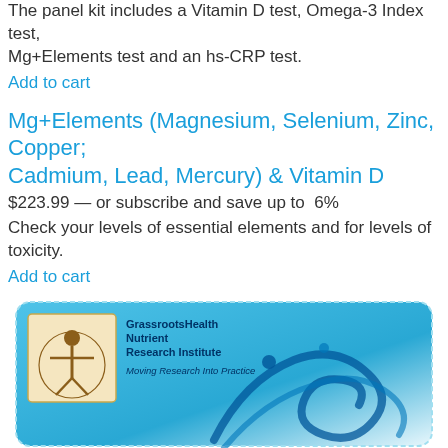The panel kit includes a Vitamin D test, Omega-3 Index test, Mg+Elements test and an hs-CRP test.
Add to cart
Mg+Elements (Magnesium, Selenium, Zinc, Copper; Cadmium, Lead, Mercury) & Vitamin D
$223.99 — or subscribe and save up to 6%
Check your levels of essential elements and for levels of toxicity.
Add to cart
[Figure (logo): GrassrootsHealth Nutrient Research Institute logo on a blue gradient card background with decorative blue swirl illustration. Text reads: GrassrootsHealth Nutrient Research Institute, Moving Research Into Practice.]